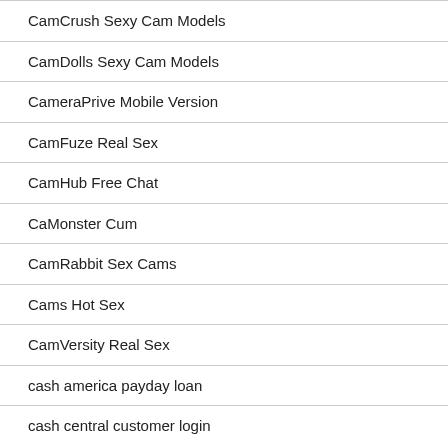CamCrush Sexy Cam Models
CamDolls Sexy Cam Models
CameraPrive Mobile Version
CamFuze Real Sex
CamHub Free Chat
CaMonster Cum
CamRabbit Sex Cams
Cams Hot Sex
CamVersity Real Sex
cash america payday loan
cash central customer login